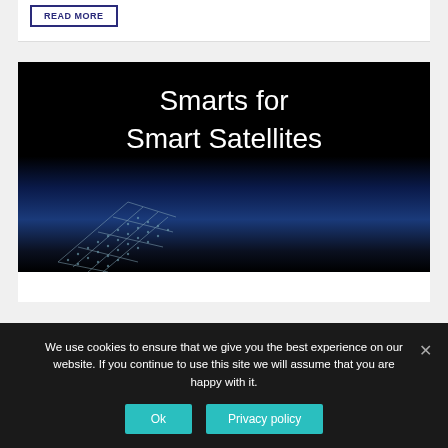READ MORE
[Figure (photo): Dark background image with white large text 'Smarts for Smart Satellites' and a glowing satellite grid/panel visible in the lower left portion of the image.]
We use cookies to ensure that we give you the best experience on our website. If you continue to use this site we will assume that you are happy with it.
Ok
Privacy policy